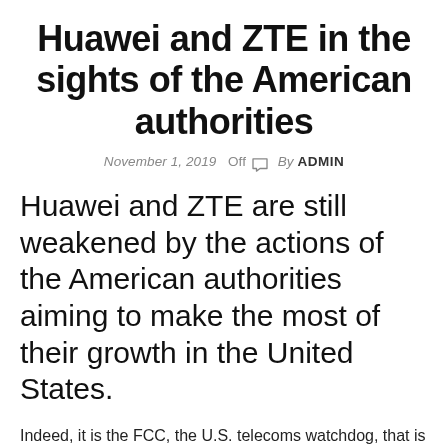Huawei and ZTE in the sights of the American authorities
November 1, 2019  Off  By ADMIN
Huawei and ZTE are still weakened by the actions of the American authorities aiming to make the most of their growth in the United States.
Indeed, it is the FCC, the U.S. telecoms watchdog, that is now pointing its sights at these Chinese companies.